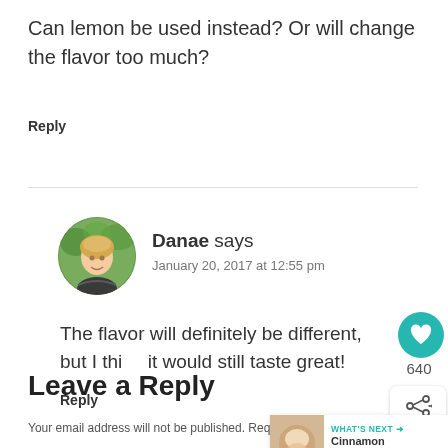Can lemon be used instead? Or will change the flavor too much?
Reply
[Figure (photo): Round avatar photo of Danae, a woman with blonde hair outdoors]
Danae says
January 20, 2017 at 12:55 pm
The flavor will definitely be different, but I think it would still taste great!
Reply
Leave a Reply
Your email address will not be published. Required fields are marked *